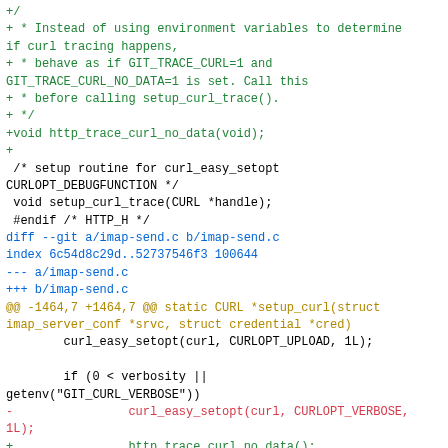Code diff showing changes to imap-send.c and http.h, including addition of http_trace_curl_no_data() function and related curl tracing modifications.